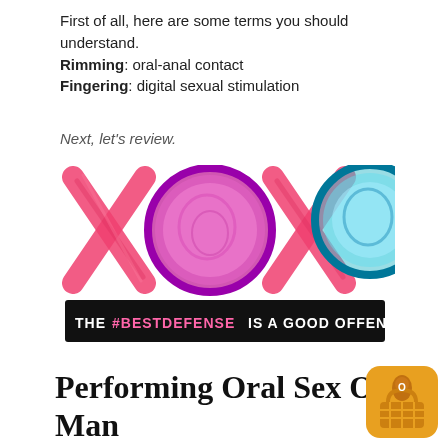First of all, here are some terms you should understand.
Rimming: oral-anal contact
Fingering: digital sexual stimulation
Next, let's review.
[Figure (logo): XOXO logo with two X letters in pink/red brush strokes and two circular condom images (one pink/purple, one teal/blue) forming the O letters. Below is a black banner reading: THE #BESTDEFENSE IS A GOOD OFFENSE]
Performing Oral Sex On A Man